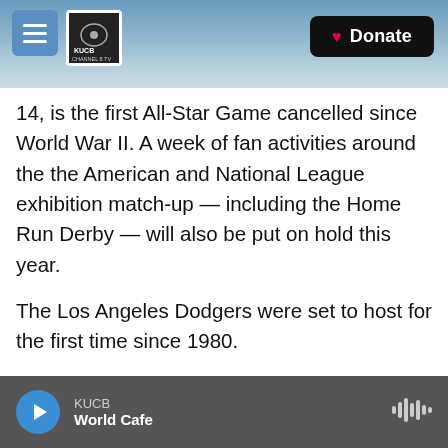KUCB Channel 8 TV — Donate
14, is the first All-Star Game cancelled since World War II. A week of fan activities around the the American and National League exhibition match-up — including the Home Run Derby — will also be put on hold this year.
The Los Angeles Dodgers were set to host for the first time since 1980.
"Once it became clear we were unable to hold this year's All-Star festivities, we wanted to award the Dodgers with the next available All-Star Game, which is 2022," said baseball Commissioner Robert
KUCB — World Cafe